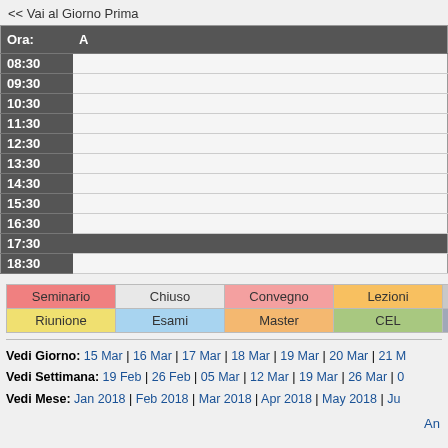<< Vai al Giorno Prima
| Ora: | A |
| --- | --- |
| 08:30 |  |
| 09:30 |  |
| 10:30 |  |
| 11:30 |  |
| 12:30 |  |
| 13:30 |  |
| 14:30 |  |
| 15:30 |  |
| 16:30 |  |
| 17:30 |  |
| 18:30 |  |
[Figure (other): Legend table with colored labels: Seminario, Chiuso, Convegno, Lezioni, Vacanza, Riunione, Esami, Master, CEL, Esterno]
Vedi Giorno: 15 Mar | 16 Mar | 17 Mar | 18 Mar | 19 Mar | 20 Mar | 21 M
Vedi Settimana: 19 Feb | 26 Feb | 05 Mar | 12 Mar | 19 Mar | 26 Mar | 0
Vedi Mese: Jan 2018 | Feb 2018 | Mar 2018 | Apr 2018 | May 2018 | Ju
An